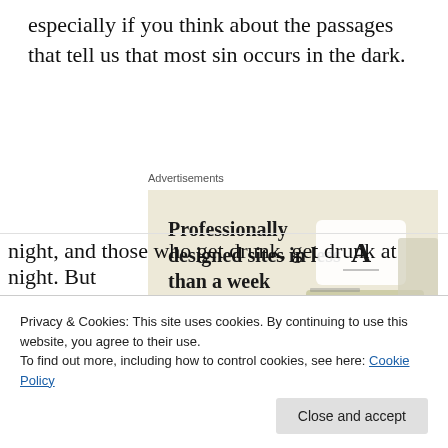especially if you think about the passages that tell us that most sin occurs in the dark.
[Figure (screenshot): Advertisement banner for a website builder: 'Professionally designed sites in less than a week' with a green 'Explore options' button and mockup screenshots of websites on the right side. Beige/cream background.]
Advertisements
Privacy & Cookies: This site uses cookies. By continuing to use this website, you agree to their use.
To find out more, including how to control cookies, see here: Cookie Policy
night, and those who get drunk, get drunk at night. But